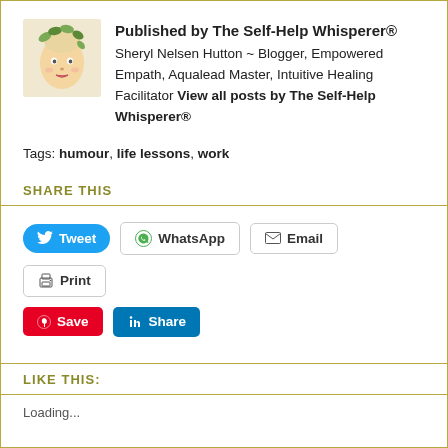Published by The Self-Help Whisperer® Sheryl Nelsen Hutton ~ Blogger, Empowered Empath, Aqualead Master, Intuitive Healing Facilitator View all posts by The Self-Help Whisperer®
Tags: humour, life lessons, work
SHARE THIS
[Figure (screenshot): Social sharing buttons: Tweet (blue pill), WhatsApp (outlined), Email (outlined), Print (outlined), Save/Pinterest (red), Share/LinkedIn (blue)]
LIKE THIS:
Loading...